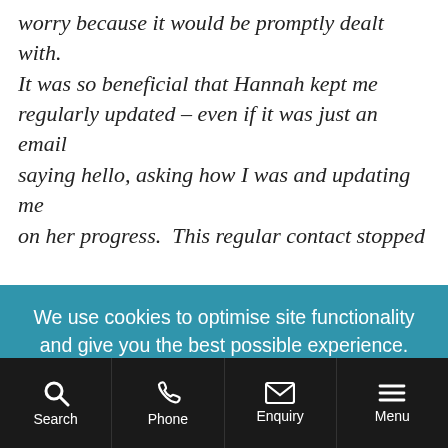worry because it would be promptly dealt with. It was so beneficial that Hannah kept me regularly updated – even if it was just an email saying hello, asking how I was and updating me on her progress.  This regular contact stopped
We use cookies to optimise site functionality and give you the best possible experience. Clicking the Accept All button means you are accepting analytics and third-party cookies (check the full list). To control which cookies are set, click Settings.
ACCEPT ALL
SETTINGS
Search   Phone   Enquiry   Menu